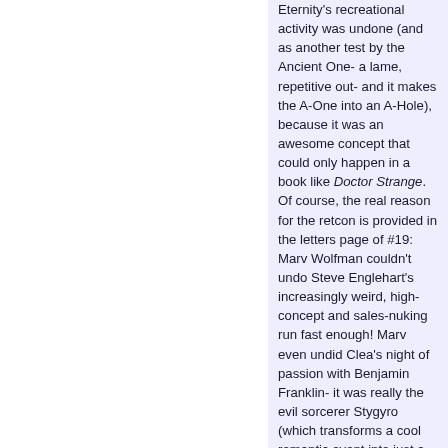Eternity's recreational activity was undone (and as another test by the Ancient One- a lame, repetitive out- and it makes the A-One into an A-Hole), because it was an awesome concept that could only happen in a book like Doctor Strange. Of course, the real reason for the retcon is provided in the letters page of #19: Marv Wolfman couldn't undo Steve Englehart's increasingly weird, high-concept and sales-nuking run fast enough! Marv even undid Clea's night of passion with Benjamin Franklin- it was really the evil sorcerer Stygyro (which transforms a cool romantic event into just a damn creepy rape). While Marv's depowering of Doc was